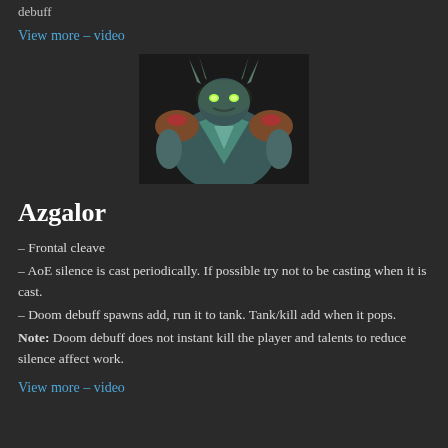debuff
View more – video
[Figure (illustration): Fantasy game boss character Azgalor rendered in 3D, a large demonic creature with glowing green eyes, horns, and armored shoulders, shown from a frontal low angle on a dark background.]
Azgalor
– Frontal cleave
– AoE silence is cast periodically. If possible try not to be casting when it is cast.
– Doom debuff spawns add, run it to tank. Tank/kill add when it pops.
Note: Doom debuff does not instant kill the player and talents to reduce silence affect work.
View more – video